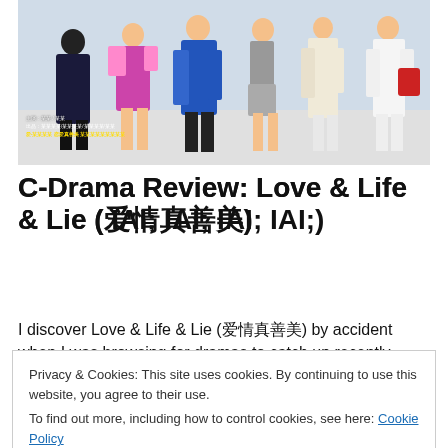[Figure (photo): Promotional photo for C-Drama 'Love & Life & Lie' showing a group of people standing in fashionable clothing, with Chinese text overlay at the bottom left.]
C-Drama Review: Love & Life & Lie (爱情真善美)
I discover Love & Life & Lie (爱情真善美) by accident when I was browsing for dramas to catch up recently when I
Privacy & Cookies: This site uses cookies. By continuing to use this website, you agree to their use.
To find out more, including how to control cookies, see here: Cookie Policy
Close and accept